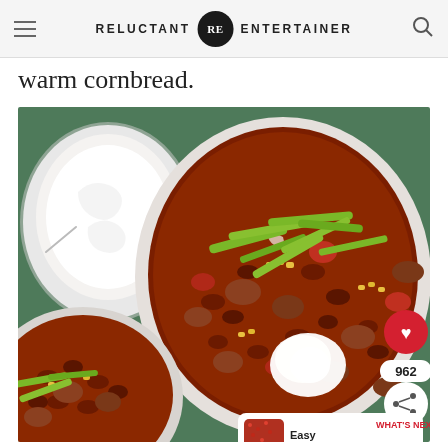RELUCTANT RE ENTERTAINER
warm cornbread.
[Figure (photo): Overhead photo of bowls of chili with beans, corn, tomatoes, sausage, and green onions on a green background. A small bowl of sour cream sits on the left. The main bowl has a dollop of sour cream on top. A partial bowl is visible at bottom left. Social sharing buttons (heart, share) are visible on the right, showing 962 saves. A 'What's Next - Easy Homemade...' panel appears at bottom right.]